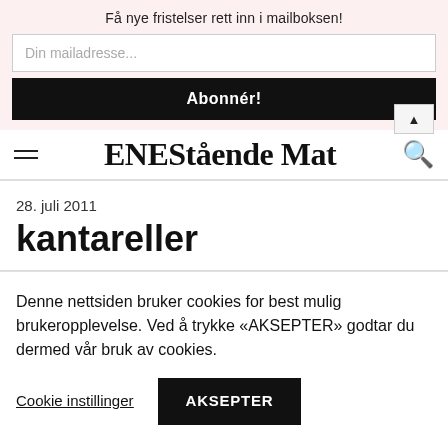Få nye fristelser rett inn i mailboksen!
Din mailadresse...
Abonnér!
ENEStående Mat
28. juli 2011
kantareller
Denne nettsiden bruker cookies for best mulig brukeropplevelse. Ved å trykke «AKSEPTER» godtar du dermed vår bruk av cookies.
Cookie instillinger
AKSEPTER